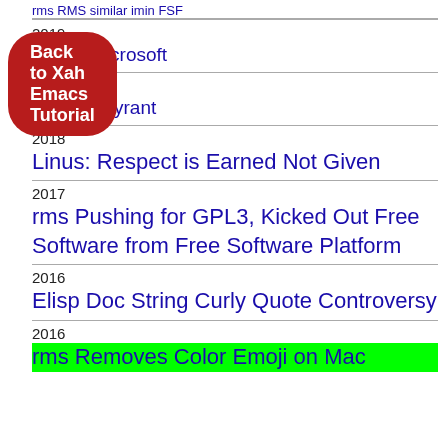Back to Xah Emacs Tutorial
2019 rms at Microsoft
2018 rms is a Tyrant
2018 Linus: Respect is Earned Not Given
2017 rms Pushing for GPL3, Kicked Out Free Software from Free Software Platform
2016 Elisp Doc String Curly Quote Controversy
2016 rms Removes Color Emoji on Mac